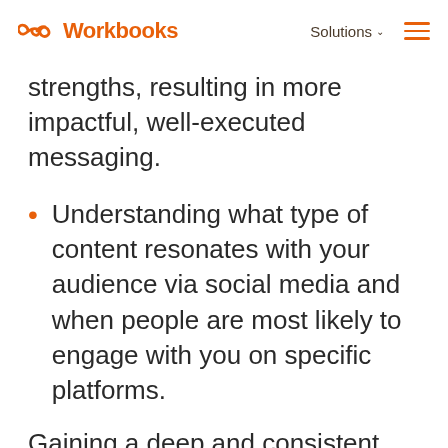Workbooks | Solutions
strengths, resulting in more impactful, well-executed messaging.
Understanding what type of content resonates with your audience via social media and when people are most likely to engage with you on specific platforms.
Gaining a deep and consistent level